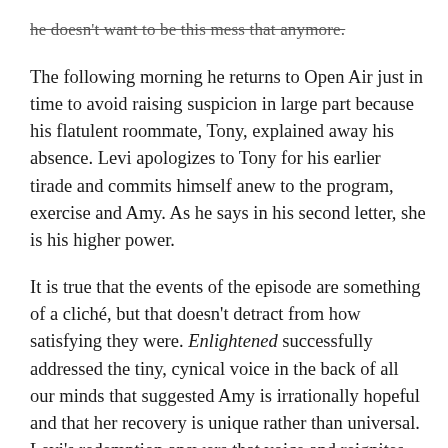he doesn't want to be this mess that anymore.
The following morning he returns to Open Air just in time to avoid raising suspicion in large part because his flatulent roommate, Tony, explained away his absence. Levi apologizes to Tony for his earlier tirade and commits himself anew to the program, exercise and Amy. As he says in his second letter, she is his higher power.
It is true that the events of the episode are something of a cliché, but that doesn't detract from how satisfying they were. Enlightened successfully addressed the tiny, cynical voice in the back of all our minds that suggested Amy is irrationally hopeful and that her recovery is unique rather than universal. Levi's redemption answers that voice and reignites hope for even the most skeptical viewer.